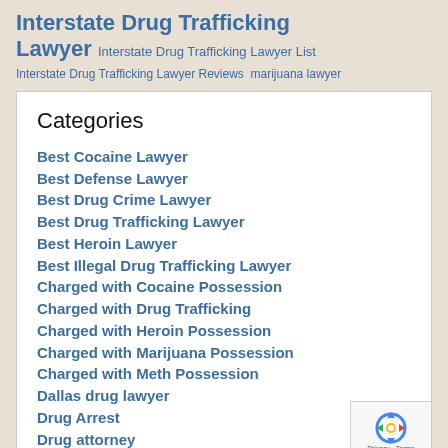Interstate Drug Trafficking Lawyer Interstate Drug Trafficking Lawyer List
Interstate Drug Trafficking Lawyer Reviews marijuana lawyer
Categories
Best Cocaine Lawyer
Best Defense Lawyer
Best Drug Crime Lawyer
Best Drug Trafficking Lawyer
Best Heroin Lawyer
Best Illegal Drug Trafficking Lawyer
Charged with Cocaine Possession
Charged with Drug Trafficking
Charged with Heroin Possession
Charged with Marijuana Possession
Charged with Meth Possession
Dallas drug lawyer
Drug Arrest
Drug attorney
[Figure (logo): reCAPTCHA badge with spinning arrows logo and Privacy · Terms text]